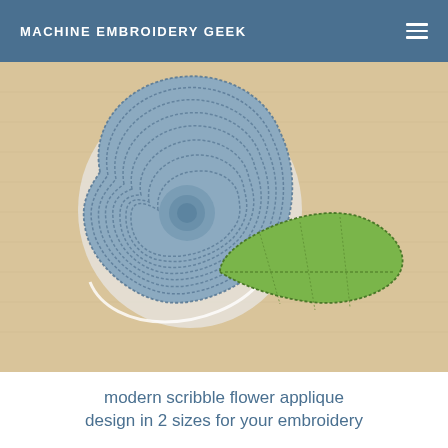MACHINE EMBROIDERY GEEK
[Figure (photo): A machine embroidery applique of a modern scribble flower in blue fabric with concentric stitch circles, and a green leaf with stitched detail lines, on a tan linen background.]
modern scribble flower applique design in 2 sizes for your embroidery